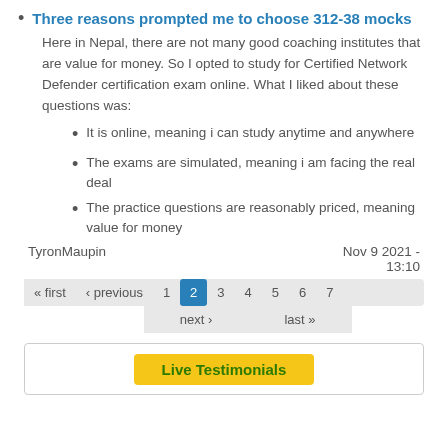Three reasons prompted me to choose 312-38 mocks
Here in Nepal, there are not many good coaching institutes that are value for money. So I opted to study for Certified Network Defender certification exam online. What I liked about these questions was:
It is online, meaning i can study anytime and anywhere
The exams are simulated, meaning i am facing the real deal
The practice questions are reasonably priced, meaning value for money
TyronMaupin                                              Nov 9 2021 - 13:10
« first ‹ previous 1 2 3 4 5 6 7 next › last »
Live Testimonials